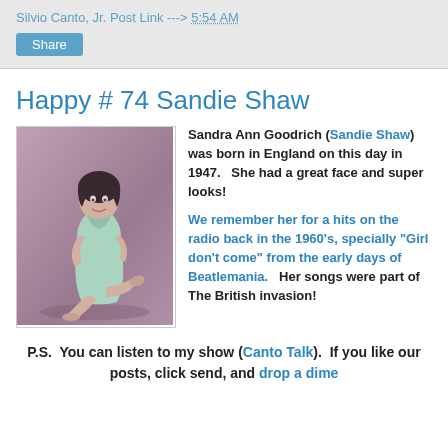Silvio Canto, Jr. Post Link ---> 5:54 AM
Happy # 74 Sandie Shaw
[Figure (photo): Photo of Sandie Shaw seated on floor wearing a light green/mint dress, with short dark hair, smiling]
Sandra Ann Goodrich (Sandie Shaw) was born in England on this day in 1947.   She had a great face and super looks!
We remember her for a hits on the radio back in the 1960's, specially "Girl don't come" from the early days of Beatlemania.   Her songs were part of The British invasion!
P.S.  You can listen to my show (Canto Talk).  If you like our posts, click send, and drop a dime